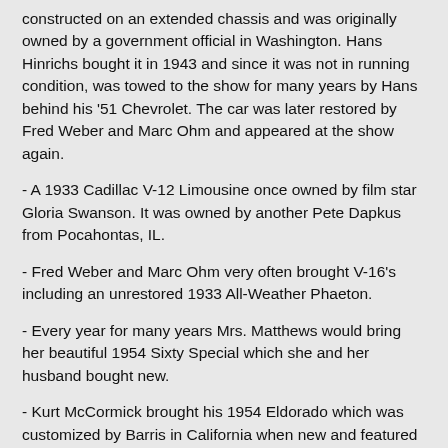constructed on an extended chassis and was originally owned by a government official in Washington. Hans Hinrichs bought it in 1943 and since it was not in running condition, was towed to the show for many years by Hans behind his '51 Chevrolet. The car was later restored by Fred Weber and Marc Ohm and appeared at the show again.
- A 1933 Cadillac V-12 Limousine once owned by film star Gloria Swanson. It was owned by another Pete Dapkus from Pocahontas, IL.
- Fred Weber and Marc Ohm very often brought V-16's including an unrestored 1933 All-Weather Phaeton.
- Every year for many years Mrs. Matthews would bring her beautiful 1954 Sixty Special which she and her husband bought new.
- Kurt McCormick brought his 1954 Eldorado which was customized by Barris in California when new and featured in several automotive magazines when first finished. Kurt had recently restored it.
- In a late 70's show, we had not one but two 1976 Cadillac pick-ups, built from Coupe DeVilles but of different construction. This one bought from Cadillac, bought it, Ford, but...